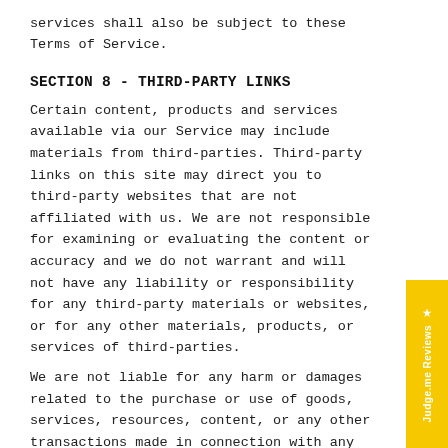services shall also be subject to these Terms of Service.
SECTION 8 - THIRD-PARTY LINKS
Certain content, products and services available via our Service may include materials from third-parties. Third-party links on this site may direct you to third-party websites that are not affiliated with us. We are not responsible for examining or evaluating the content or accuracy and we do not warrant and will not have any liability or responsibility for any third-party materials or websites, or for any other materials, products, or services of third-parties.
We are not liable for any harm or damages related to the purchase or use of goods, services, resources, content, or any other transactions made in connection with any third-party websites. Please review carefully the third-party's policies and practices and make sure you understand them